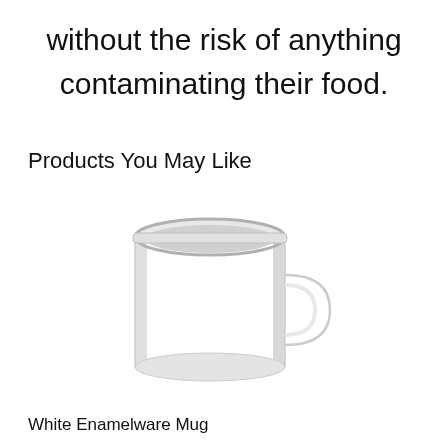without the risk of anything contaminating their food.
Products You May Like
[Figure (photo): A white enamelware mug with a handle, photographed on a white background.]
White Enamelware Mug